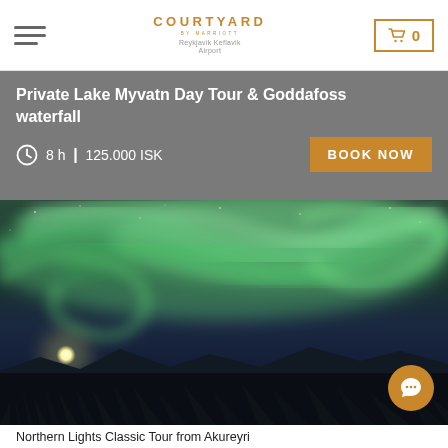[Figure (logo): Courtyard by Marriott logo with text 'Reykjavik Keflavik Airport']
Private Lake Myvatn Day Tour & Goddafoss waterfall
8 h | 125.000 ISK
[Figure (photo): Northern lights (aurora borealis) over a snowy winter landscape at night, with trees in silhouette and a glowing moon. Chat button overlay in bottom-right corner.]
Northern Lights Classic Tour from Akureyri